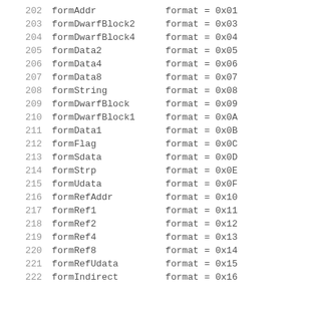202  formAddr          format = 0x01
203  formDwarfBlock2  format = 0x03
204  formDwarfBlock4  format = 0x04
205  formData2        format = 0x05
206  formData4        format = 0x06
207  formData8        format = 0x07
208  formString       format = 0x08
209  formDwarfBlock   format = 0x09
210  formDwarfBlock1  format = 0x0A
211  formData1        format = 0x0B
212  formFlag         format = 0x0C
213  formSdata        format = 0x0D
214  formStrp         format = 0x0E
215  formUdata        format = 0x0F
216  formRefAddr      format = 0x10
217  formRef1         format = 0x11
218  formRef2         format = 0x12
219  formRef4         format = 0x13
220  formRef8         format = 0x14
221  formRefUdata     format = 0x15
222  formIndirect     format = 0x16